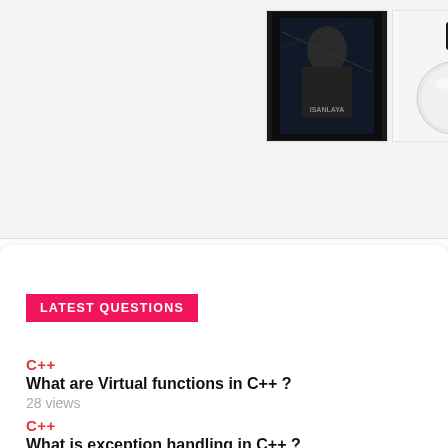[Figure (photo): Three product images: a manga/book cover (dark, character illustration), a round glass dropper bottle, and gold circular hoop earrings]
LATEST QUESTIONS
C++
What are Virtual functions in C++ ?
28 views
C++
What is exception handling in C++ ?
40 views
C++
What is namespace in C++ ?
41 views